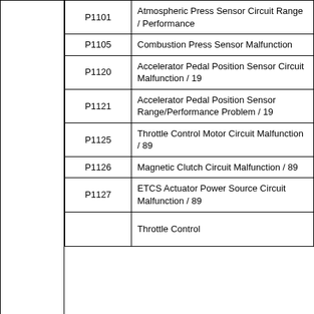| Code | Description |
| --- | --- |
| P1101 | Atmospheric Press Sensor Circuit Range / Performance |
| P1105 | Combustion Press Sensor Malfunction |
| P1120 | Accelerator Pedal Position Sensor Circuit Malfunction / 19 |
| P1121 | Accelerator Pedal Position Sensor Range/Performance Problem / 19 |
| P1125 | Throttle Control Motor Circuit Malfunction / 89 |
| P1126 | Magnetic Clutch Circuit Malfunction / 89 |
| P1127 | ETCS Actuator Power Source Circuit Malfunction / 89 |
|  | Throttle Control |